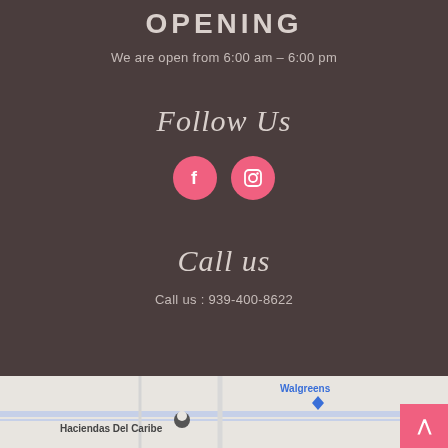OPENING
We are open from 6:00 am – 6:00 pm
Follow Us
[Figure (infographic): Two circular pink social media buttons — Facebook (f) and Instagram (camera icon)]
Call us
Call us : 939-400-8622
[Figure (map): Bottom portion of a Google Maps view showing Haciendas Del Caribe location with a pin, Walgreens label in blue, and road lines. A pink scroll-to-top button is in the bottom right corner.]